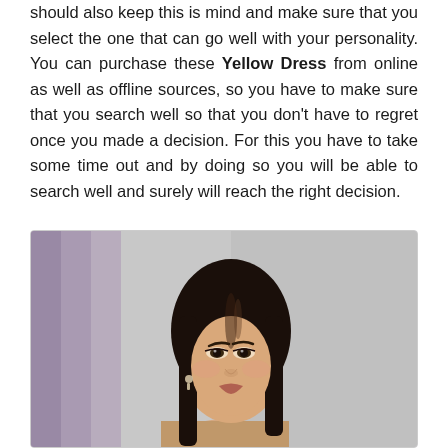should also keep this is mind and make sure that you select the one that can go well with your personality. You can purchase these Yellow Dress from online as well as offline sources, so you have to make sure that you search well so that you don't have to regret once you made a decision. For this you have to take some time out and by doing so you will be able to search well and surely will reach the right decision.
[Figure (photo): Fashion photo of a woman with dark straight hair, looking slightly to the side, wearing earrings, against a light grey and blurred purple background.]